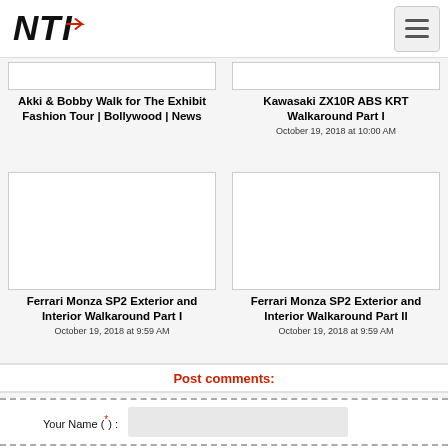NTI logo and navigation
Akki & Bobby Walk for The Exhibit Fashion Tour | Bollywood | News
Kawasaki ZX10R ABS KRT Walkaround Part I
October 19, 2018 at 10:00 AM
[Figure (photo): Thumbnail image placeholder for Ferrari Monza SP2 Exterior and Interior Walkaround Part I]
Ferrari Monza SP2 Exterior and Interior Walkaround Part I
October 19, 2018 at 9:59 AM
[Figure (photo): Thumbnail image placeholder for Ferrari Monza SP2 Exterior and Interior Walkaround Part II]
Ferrari Monza SP2 Exterior and Interior Walkaround Part II
October 19, 2018 at 9:59 AM
Post comments:
Your Name (*) :
Your Email :